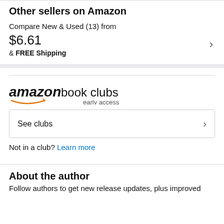Other sellers on Amazon
Compare New & Used (13) from
$6.61
& FREE Shipping
[Figure (logo): Amazon Book Clubs early access logo with Amazon smile arrow]
See clubs
Not in a club? Learn more
About the author
Follow authors to get new release updates, plus improved